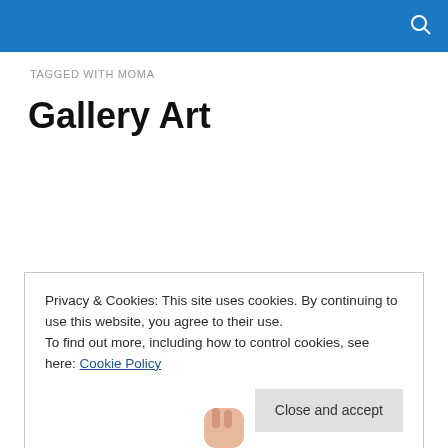TAGGED WITH MOMA
Gallery Art
Privacy & Cookies: This site uses cookies. By continuing to use this website, you agree to their use.
To find out more, including how to control cookies, see here: Cookie Policy
Close and accept